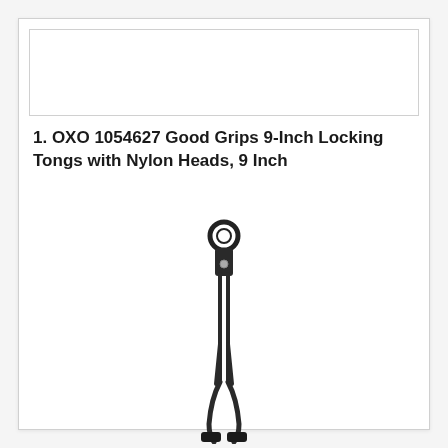[Figure (other): White rectangular placeholder image area at top of page]
1. OXO 1054627 Good Grips 9-Inch Locking Tongs with Nylon Heads, 9 Inch
[Figure (photo): Product photo of OXO black locking tongs with nylon heads, shown vertically with the loop handle at top and nylon tong heads at bottom]